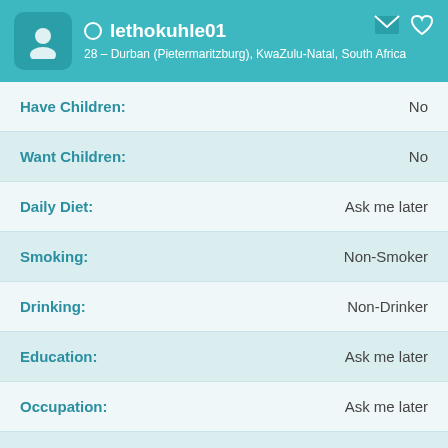lethokuhle01 – 28 – Durban (Pietermaritzburg), KwaZulu-Natal, South Africa
| Field | Value |
| --- | --- |
| Have Children: | No |
| Want Children: | No |
| Daily Diet: | Ask me later |
| Smoking: | Non-Smoker |
| Drinking: | Non-Drinker |
| Education: | Ask me later |
| Occupation: | Ask me later |
| Income: | Ask me later |